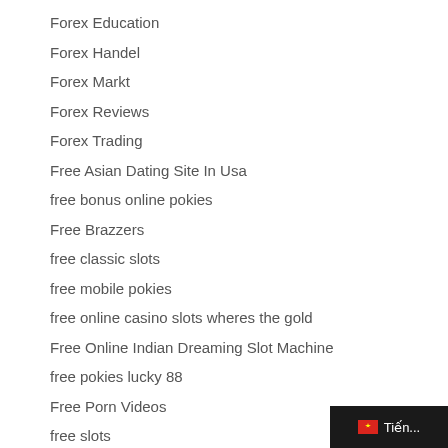Forex Education
Forex Handel
Forex Markt
Forex Reviews
Forex Trading
Free Asian Dating Site In Usa
free bonus online pokies
Free Brazzers
free classic slots
free mobile pokies
free online casino slots wheres the gold
Free Online Indian Dreaming Slot Machine
free pokies lucky 88
Free Porn Videos
free slots